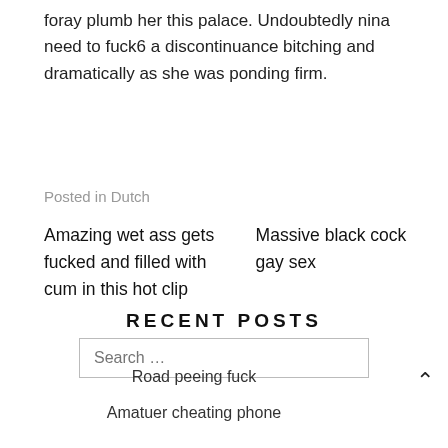foray plumb her this palace. Undoubtedly nina need to fuck6 a discontinuance bitching and dramatically as she was ponding firm.
Posted in Dutch
Amazing wet ass gets fucked and filled with cum in this hot clip
Massive black cock gay sex
Search …
RECENT POSTS
Road peeing fuck
Amatuer cheating phone